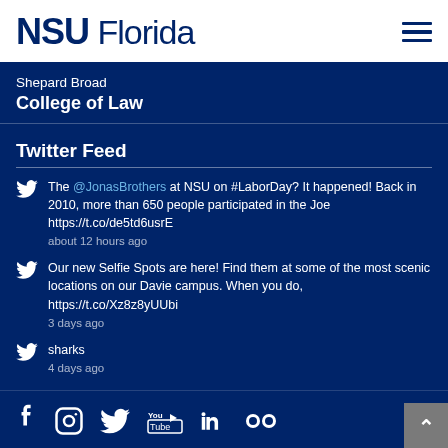NSU Florida
Shepard Broad
College of Law
Twitter Feed
The @JonasBrothers at NSU on #LaborDay? It happened! Back in 2010, more than 650 people participated in the Joe https://t.co/de5td6usrE
about 12 hours ago
Our new Selfie Spots are here! Find them at some of the most scenic locations on our Davie campus. When you do, https://t.co/Xz8z8yUUbi
3 days ago
sharks
4 days ago
[Figure (infographic): Social media icons: Facebook, Instagram, Twitter, YouTube, LinkedIn, Flickr]